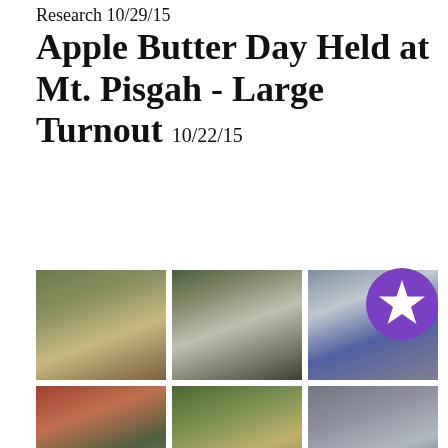Research 10/29/15
Apple Butter Day Held at Mt. Pisgah - Large Turnout 10/22/15
[Figure (photo): Six photos from Apple Butter Day event at Mt. Pisgah showing crowds, attendees, and activities outdoors]
[Figure (illustration): Purple circular star badge/icon overlay in bottom right area]